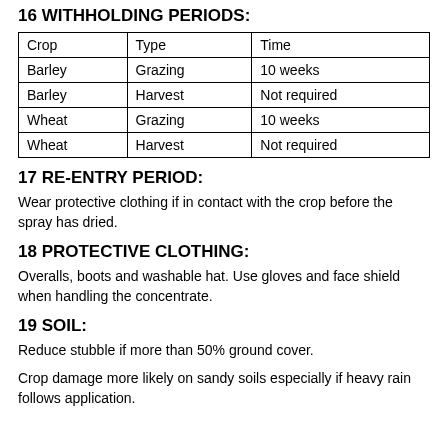16 WITHHOLDING PERIODS:
| Crop | Type | Time |
| --- | --- | --- |
| Barley | Grazing | 10 weeks |
| Barley | Harvest | Not required |
| Wheat | Grazing | 10 weeks |
| Wheat | Harvest | Not required |
17 RE-ENTRY PERIOD:
Wear protective clothing if in contact with the crop before the spray has dried.
18 PROTECTIVE CLOTHING:
Overalls, boots and washable hat. Use gloves and face shield when handling the concentrate.
19 SOIL:
Reduce stubble if more than 50% ground cover.
Crop damage more likely on sandy soils especially if heavy rain follows application.